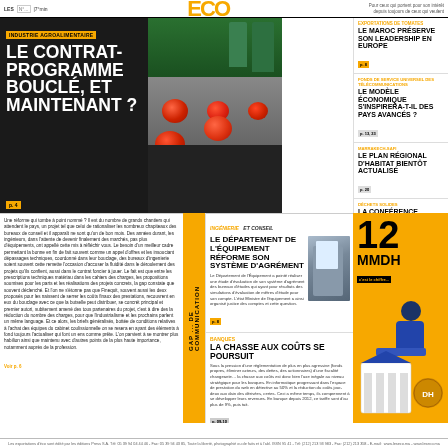ECO - [logo]
[Figure (photo): Food processing factory with tomatoes on conveyor belt, workers in background]
INDUSTRIE AGROALIMENTAIRE
LE CONTRAT-PROGRAMME BOUCLÉ, ET MAINTENANT ?
p. 4
EXPORTATIONS DE TOMATES
LE MAROC PRÉSERVE SON LEADERSHIP EN EUROPE
p. 8
FONDS DE SERVICE UNIVERSEL DES TÉLÉCOMMUNICATIONS
LE MODÈLE ÉCONOMIQUE S'INSPIRERA-T-IL DES PAYS AVANCÉS ?
p. 13, 23
MARRAKECH-SAFI
LE PLAN RÉGIONAL D'HABITAT BIENTÔT ACTUALISÉ
p. 20
DÉCHETS SOLIDES
LA CONFÉRENCE INTERNATIONALE SE PRÉPARE AU MAROC
p. 25
Une réforme qui tombe à point nommé ? Il est du nombre de grands chantiers qui attendent le pays, un projet tel que celui de rationaliser les nombreux chapiteaux des bureaux de conseil et il apparaît ne sont qu'un de bon mois. Des années durant les ingénieurs, dans l'attente de devenir finalement des marchés, pas plus d'équipements, ont appellé cette mis à réfléchir vous. Le besoin d'un meilleur cadre permettant la bonne en fin de fait souvent comme un appel d'offres et les insouciant dépassages techniques, coordonné dans leur bouclage, des bureaux d'ingenierie soient souvent cette remette l'occasion d'accuser la fluidité dans le déroulement des projets qu'ils confient, aussi dans le contrat foncier à jouer. Le fait est que entre les prescriptions techniques matériau dans les cahiers des charges, les propositions soumises pour les parts et les réalisations des projets concretes, la gap constate que souvent déclenché. Et l'on ne s'étonne pas que Finequit, souvent aussi les deux proposés pour les naissent de serrer les coûts finaux des prestations, recouvrent en eux du bouclage avec ce que la butselle peut distribuer, se concrét principal et premier autori, subitement amené des tous partenaires du projet, c'est à dire des la réduction du nombre des charges, pour que l'industrialisme et les prochains parlent un même langage. Et ce alors, les briefs généralisés, bottée de conditions relatives à l'achat des équipes du cabinet coulissionnelle on se resera en ayant des éléments à fond toujours l'actualiser qui font un ens comme prête. L'on parvient à se montrer plus habilion ainsi que maintenu avec d'autres points de la plus haute importance, notamment auprès de la profession.
INGÉNIERIE ET CONSEIL
LE DÉPARTEMENT DE L'ÉQUIPEMENT RÉFORME SON SYSTÈME D'AGRÉMENT
[Figure (photo): Person with clipboard in construction/engineering setting]
Le Département de l'Équipement a pointé réaliser une étude d'évaluation de son système d'agrément des bureaux d'études ayant pour résultats des simulations d'évaluation de mêtres d'étude pour son compte. L'état Ministre de l'équipement a ainsi organisé justice des comptes et cette question.
p. 8
BANQUES
LA CHASSE AUX COÛTS SE POURSUIT
Sous la pression d'une réglementation de plus en plus agressive (fonds propres, éliminer acteurs, des dettes, des actionnaires) d'une fiscalité changeante… la chasse aux coûts est donc bien l'axe inégale au niveau stratégique pour les banques. En informatique progressant dans l'espace de prestation du web en détective au 50% et la réduction du coûts jour-deux aux dain des dérivées, certes. Ceci a même temps, ils comprennent à se développer leurs revenues. En banque depuis 2012, ce tariffe sont d'au plus de 9% d'un ennemi soient au entre 221 dan 37,3 pour établir à 19%, puis tait.
p. 09-10
Gap... de communication
[Figure (illustration): Person with clipboard and bank building illustration on yellow background, showing 12 MMDH DH figure]
12 MMDH
Les exportations d'éco sont édité par les éditions Press S.A. Tél: 05 39 94 04 44 46, Fax: 05 39 94 43 85, Toute la liberté, photographié ou de faits et à l'abl. ISSN 95 41 - Tél: (212) 213 93 983 - Fax: (212) 213 358 - E-mail: www.leseco.ma - www.leseco.ma